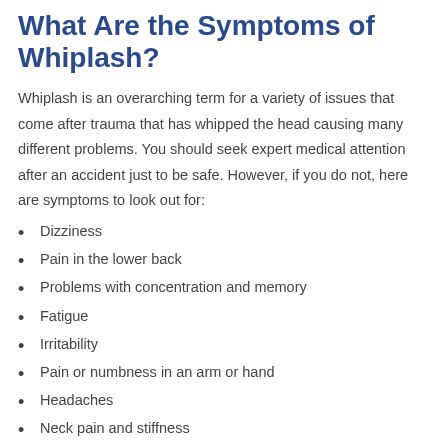What Are the Symptoms of Whiplash?
Whiplash is an overarching term for a variety of issues that come after trauma that has whipped the head causing many different problems. You should seek expert medical attention after an accident just to be safe. However, if you do not, here are symptoms to look out for:
Dizziness
Pain in the lower back
Problems with concentration and memory
Fatigue
Irritability
Pain or numbness in an arm or hand
Headaches
Neck pain and stiffness